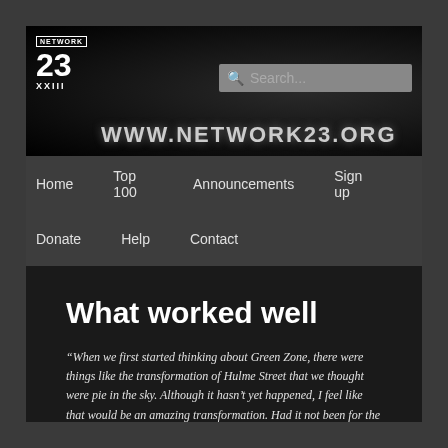[Figure (screenshot): Network 23 website header banner with dark background, Network 23 logo on the left, www.network23.org URL text in center-right, and a search box in the upper right]
Home  Top 100  Announcements  Sign up  Donate  Help  Contact
What worked well
“When we first started thinking about Green Zone, there were things like the transformation of Hulme Street that we thought were pie in the sky. Although it hasn’t yet happened, I feel like that would be an amazing transformation. Had it not been for the Green Zone workers those meetings would have not